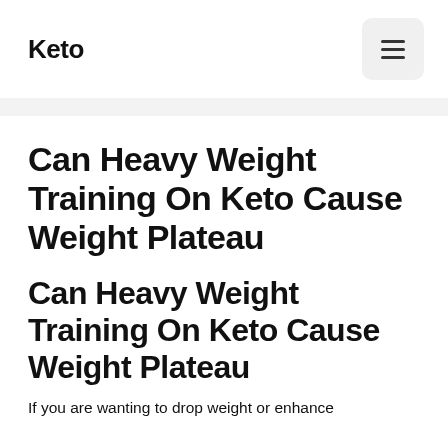Keto
Can Heavy Weight Training On Keto Cause Weight Plateau
Can Heavy Weight Training On Keto Cause Weight Plateau
If you are wanting to drop weight or enhance